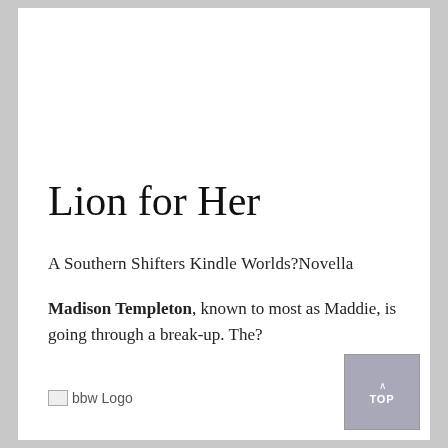Lion for Her
A Southern Shifters Kindle Worlds?Novella
Madison Templeton, known to most as Maddie, is going through a break-up. The?
[Figure (logo): bbw Logo — broken image placeholder with text 'bbw Logo']
∧TOP